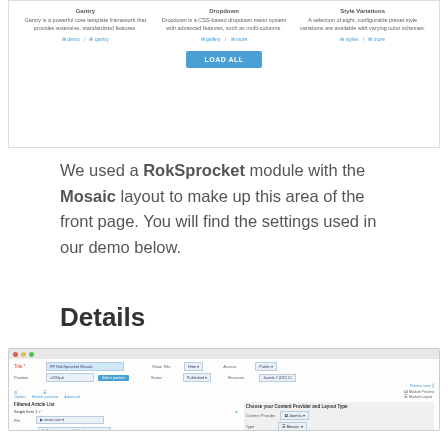[Figure (screenshot): Screenshot of a website showing three content cards with titles about Gantry, Dropdown, and preset styles, plus a 'LOAD ALL' blue button]
We used a RokSprocket module with the Mosaic layout to make up this area of the front page. You will find the settings used in our demo below.
Details
[Figure (screenshot): Screenshot of a CMS module configuration panel showing RokSprocket Mosaic settings with fields for Title, Provider, Status, Access, Show Title, Showonn, Options/Assignments/Advanced tabs, Filtered Article List, and content provider/layout type settings on the right side]
[Figure (screenshot): Partial screenshot of a settings panel at the bottom of the page]